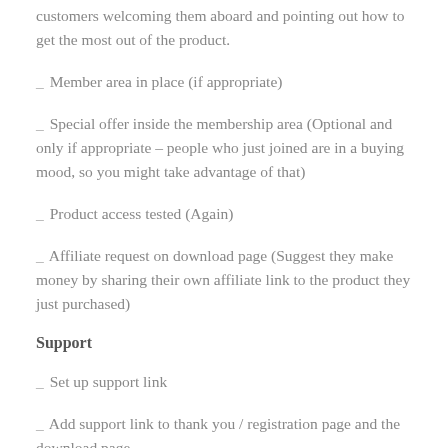customers welcoming them aboard and pointing out how to get the most out of the product.
_ Member area in place (if appropriate)
_ Special offer inside the membership area (Optional and only if appropriate – people who just joined are in a buying mood, so you might take advantage of that)
_ Product access tested (Again)
_ Affiliate request on download page (Suggest they make money by sharing their own affiliate link to the product they just purchased)
Support
_ Set up support link
_ Add support link to thank you / registration page and the download page